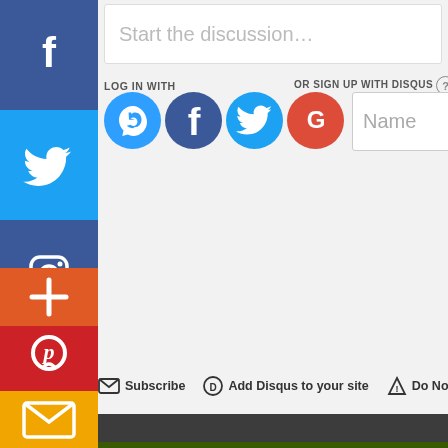[Figure (screenshot): Disqus comment login area with 'Start the discussion...' placeholder text, LOG IN WITH social icons (Disqus, Facebook, Twitter, Google), OR SIGN UP WITH DISQUS button, and Name input field]
[Figure (infographic): Vertical social sharing sidebar with Facebook, Twitter, Instagram, Tumblr, Plus, Pinterest, and Mail buttons]
Subscribe
Add Disqus to your site
Do Not Sell M